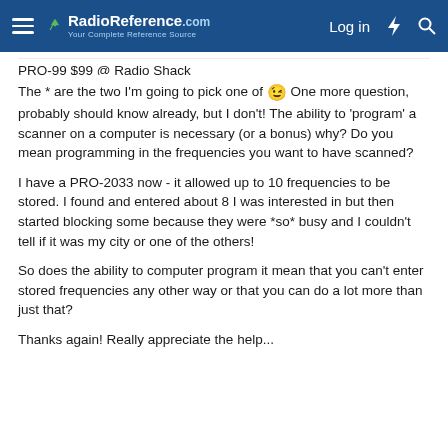RadioReference.com — Log in
PRO-99 $99 @ Radio Shack
The * are the two I'm going to pick one of 😉 One more question, probably should know already, but I don't! The ability to 'program' a scanner on a computer is necessary (or a bonus) why? Do you mean programming in the frequencies you want to have scanned?
I have a PRO-2033 now - it allowed up to 10 frequencies to be stored. I found and entered about 8 I was interested in but then started blocking some because they were *so* busy and I couldn't tell if it was my city or one of the others!
So does the ability to computer program it mean that you can't enter stored frequencies any other way or that you can do a lot more than just that?
Thanks again! Really appreciate the help...